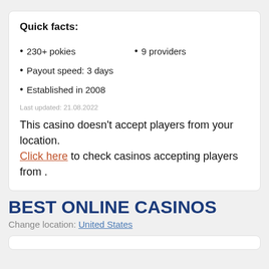Quick facts:
230+ pokies
9 providers
Payout speed: 3 days
Established in 2008
Last updated: 21.08.2022
This casino doesn't accept players from your location. Click here to check casinos accepting players from .
BEST ONLINE CASINOS
Change location: United States